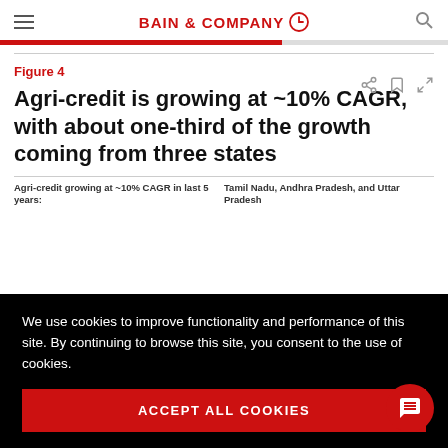BAIN & COMPANY
Figure 4
Agri-credit is growing at ~10% CAGR, with about one-third of the growth coming from three states
Agri-credit growing at ~10% CAGR in last 5 years:
Tamil Nadu, Andhra Pradesh, and Uttar Pradesh
We use cookies to improve functionality and performance of this site. By continuing to browse this site, you consent to the use of cookies.
ACCEPT ALL COOKIES